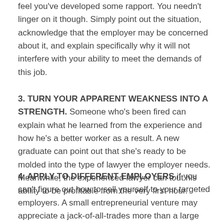feel you've developed some rapport. You needn't linger on it though. Simply point out the situation, acknowledge that the employer may be concerned about it, and explain specifically why it will not interfere with your ability to meet the demands of this job.
3. TURN YOUR APPARENT WEAKNESS INTO A STRENGTH. Someone who's been fired can explain what he learned from the experience and how he's a better worker as a result. A new graduate can point out that she's ready to be molded into the type of lawyer the employer needs. Meanwhile, the experienced lawyer can tout his ability to be profitable from the very first hour.
4. APPLY TO DIFFERENT EMPLOYERS if you can't figure out how to sell yourself to your targeted employers. A small entrepreneurial venture may appreciate a jack-of-all-trades more than a large company where functions are sharply defined and separate. A history of providing good results